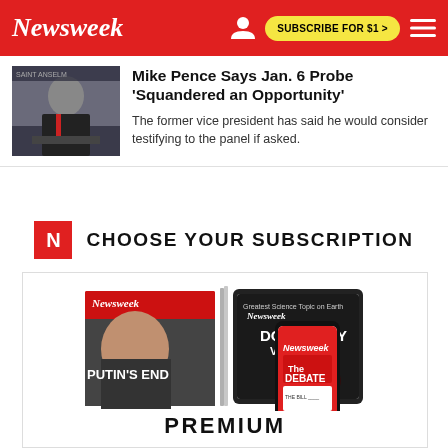Newsweek | SUBSCRIBE FOR $1 >
Mike Pence Says Jan. 6 Probe 'Squandered an Opportunity'
The former vice president has said he would consider testifying to the panel if asked.
CHOOSE YOUR SUBSCRIPTION
[Figure (illustration): Newsweek magazine covers and digital devices showing Premium subscription — print magazine with Putin cover, tablet with Doomsday Variant cover, and smartphone with The Debate app]
PREMIUM